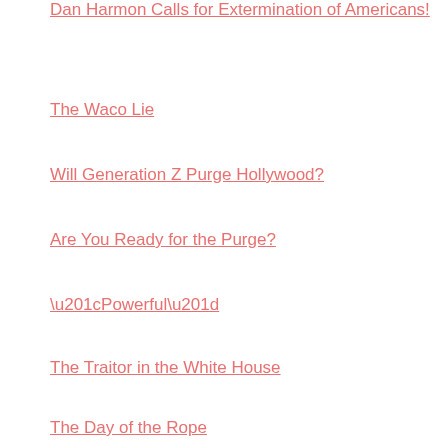Dan Harmon Calls for Extermination of Americans!
The Waco Lie
Will Generation Z Purge Hollywood?
Are You Ready for the Purge?
“Powerful”
The Traitor in the White House
The Day of the Rope
The day of...